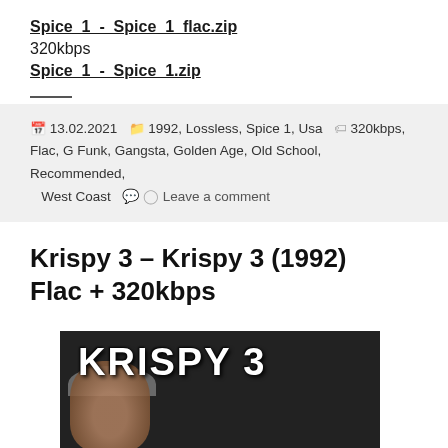Spice_1_-_Spice_1_flac.zip
320kbps
Spice_1_-_Spice_1.zip
13.02.2021  1992, Lossless, Spice 1, Usa  320kbps, Flac, G Funk, Gangsta, Golden Age, Old School, Recommended, West Coast  Leave a comment
Krispy 3 – Krispy 3 (1992) Flac + 320kbps
[Figure (photo): Album cover for Krispy 3 showing bold white text 'KRISPY 3' over a dark background with a person wearing a hat]